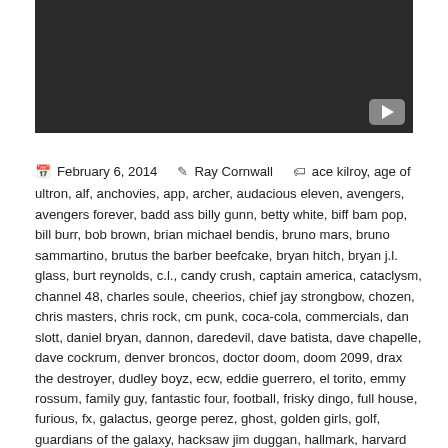[Figure (screenshot): Dark video player placeholder with a YouTube play button in the bottom-right corner]
February 6, 2014   Ray Cornwall   ace kilroy, age of ultron, alf, anchovies, app, archer, audacious eleven, avengers, avengers forever, badd ass billy gunn, betty white, biff bam pop, bill burr, bob brown, brian michael bendis, bruno mars, bruno sammartino, brutus the barber beefcake, bryan hitch, bryan j.l. glass, burt reynolds, c.l., candy crush, captain america, cataclysm, channel 48, charles soule, cheerios, chief jay strongbow, chozen, chris masters, chris rock, cm punk, coca-cola, commercials, dan slott, daniel bryan, dannon, daredevil, dave batista, dave chapelle, dave cockrum, denver broncos, doctor doom, doom 2099, drax the destroyer, dudley boyz, ecw, eddie guerrero, el torito, emmy rossum, family guy, fantastic four, football, frisky dingo, full house, furious, fx, galactus, george perez, ghost, golden girls, golf, guardians of the galaxy, hacksaw jim duggan, hallmark, harvard business review, hulk hogan, hulu, human torch, immortus, indiana jones, invaders, invisible woman, iron sheik, jack kirby, jaguar, james brown, james robinson, janet jackson, jbl, jessica